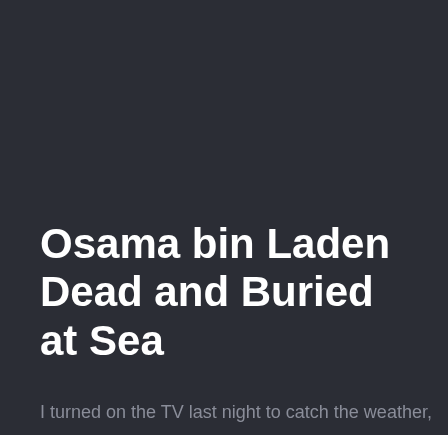Osama bin Laden Dead and Buried at Sea
I turned on the TV last night to catch the weather,
This website uses cookies to improve your experience. We'll assume ok with this, but you can opt-out if you wish. Cookie settings ACCEPT
Learn to Blog!